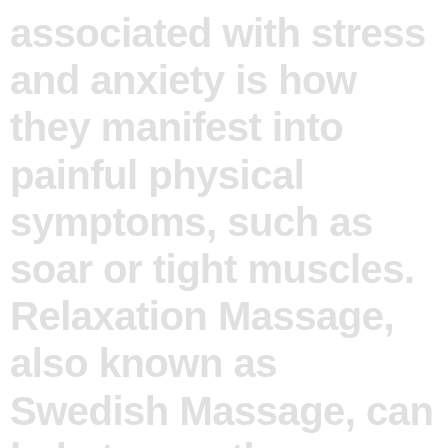associated with stress and anxiety is how they manifest into painful physical symptoms, such as soar or tight muscles. Relaxation Massage, also known as Swedish Massage, can help to greatly improve your mood and energy levels, as well as decrease anxiety naturally. Simply put, massage increases the levels of endorphins, which are the body's natural "uplifting and feel good" chemicals, without the use of man-made pharmaceuticals.